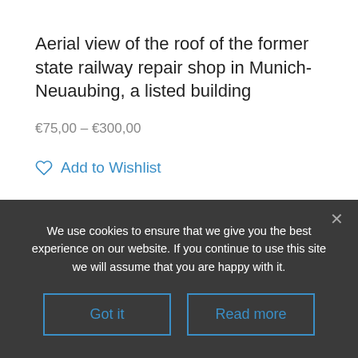Aerial view of the roof of the former state railway repair shop in Munich-Neuaubing, a listed building
€75,00 – €300,00
Add to Wishlist
We use cookies to ensure that we give you the best experience on our website. If you continue to use this site we will assume that you are happy with it.